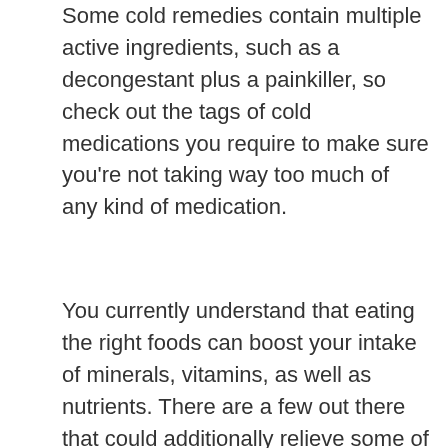Some cold remedies contain multiple active ingredients, such as a decongestant plus a painkiller, so check out the tags of cold medications you require to make sure you're not taking way too much of any kind of medication.
You currently understand that eating the right foods can boost your intake of minerals, vitamins, as well as nutrients. There are a few out there that could additionally relieve some of your most bothersome daily problems like migraines or even